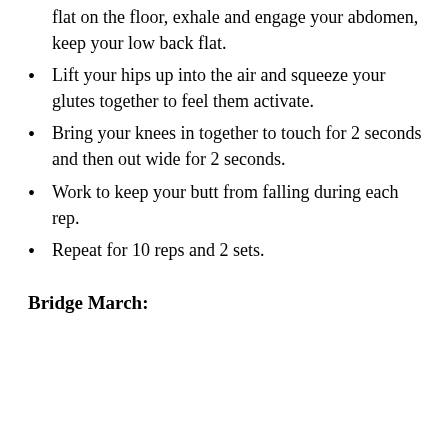flat on the floor, exhale and engage your abdomen, keep your low back flat.
Lift your hips up into the air and squeeze your glutes together to feel them activate.
Bring your knees in together to touch for 2 seconds and then out wide for 2 seconds.
Work to keep your butt from falling during each rep.
Repeat for 10 reps and 2 sets.
Bridge March: